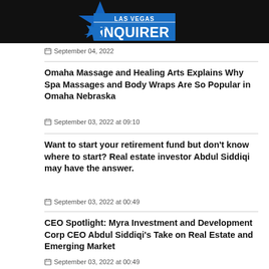LAS VEGAS INQUIRER
September 04, 2022
Omaha Massage and Healing Arts Explains Why Spa Massages and Body Wraps Are So Popular in Omaha Nebraska
September 03, 2022 at 09:10
Want to start your retirement fund but don't know where to start? Real estate investor Abdul Siddiqi may have the answer.
September 03, 2022 at 00:49
CEO Spotlight: Myra Investment and Development Corp CEO Abdul Siddiqi's Take on Real Estate and Emerging Market
September 03, 2022 at 00:49